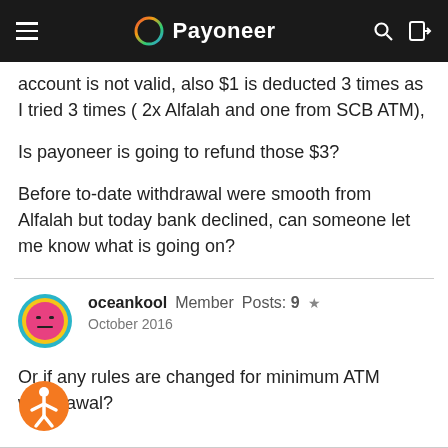Payoneer
account is not valid, also $1 is deducted 3 times as I tried 3 times ( 2x Alfalah and one from SCB ATM),
Is payoneer is going to refund those $3?
Before to-date withdrawal were smooth from Alfalah but today bank declined, can someone let me know what is going on?
oceankool  Member  Posts: 9  ★
October 2016
Or if any rules are changed for minimum ATM withdrawal?